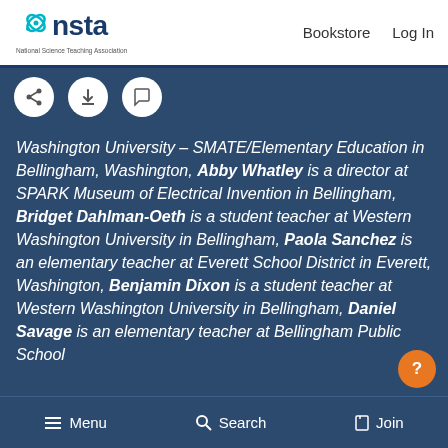NSTA – National Science Teaching Association | Bookstore | Log In
[Figure (screenshot): NSTA logo with cyan leaf shapes and navy blue text, plus toolbar icons for share, download, and comment]
Washington University – SMATE/Elementary Education in Bellingham, Washington, Abby Whatley is a director at SPARK Museum of Electrical Invention in Bellingham, Bridget Dahlman-Oeth is a student teacher at Western Washington University in Bellingham, Paola Sanchez is an elementary teacher at Everett School District in Everett, Washington, Benjamin Dixon is a student teacher at Western Washington University in Bellingham, Daniel Savage is an elementary teacher at Bellingham Public School
Menu | Search | Join